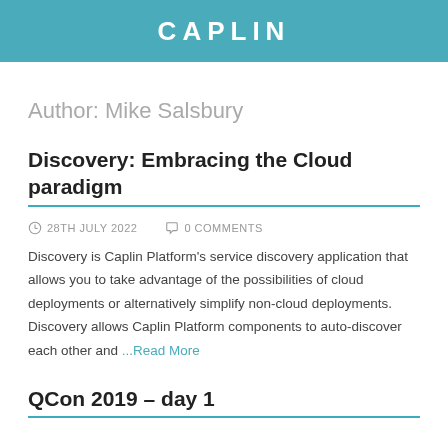CAPLIN
Author: Mike Salsbury
Discovery: Embracing the Cloud paradigm
28TH JULY 2022   0 COMMENTS
Discovery is Caplin Platform's service discovery application that allows you to take advantage of the possibilities of cloud deployments or alternatively simplify non-cloud deployments. Discovery allows Caplin Platform components to auto-discover each other and ...Read More
QCon 2019 – day 1